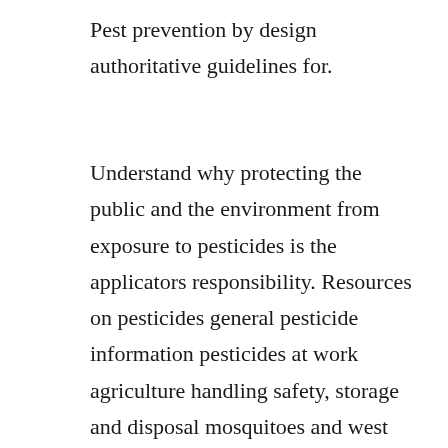Pest prevention by design authoritative guidelines for.
Understand why protecting the public and the environment from exposure to pesticides is the applicators responsibility. Resources on pesticides general pesticide information pesticides at work agriculture handling safety, storage and disposal mosquitoes and west nile virus other particular pests lawn and garden care disinfectants and sanitizers information for homeowners pesticides and children alternatives to chemical pesticides general